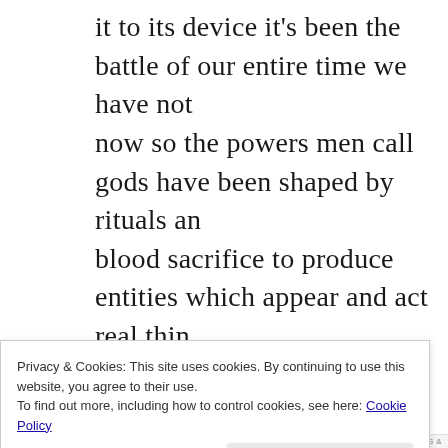it to its device it's been the battle of our entire time we have not now so the powers men call gods have been shaped by rituals and blood sacrifice to produce entities which appear and act real think our celebrities are our business leaders our billionaire class of p somehow the great saviors of the world who we need to pay attention investing in and what their what their thoughts are on the coming this bill gates is not the end of this bill gates is not the beginning long time and i'm just being a little southern in my draw but i just this is not like today they are conceived by us and they live in our metaphoric sense but as autonomous psychic content mulak bal brands are represented by families associated with associated in glyphs these symbols are the brands we now see all around us we to view as normal marketing of consumer goods recognizing the
Privacy & Cookies: This site uses cookies. By continuing to use this website, you agree to their use.
To find out more, including how to control cookies, see here: Cookie Policy
Close and accept